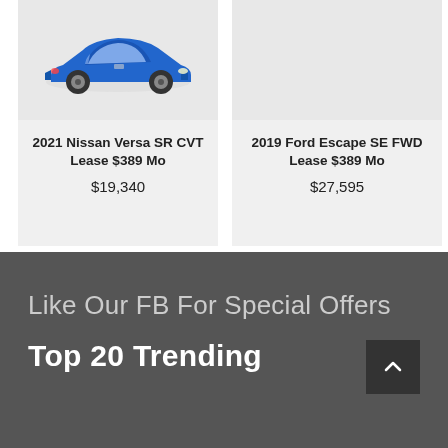[Figure (photo): 2021 Nissan Versa SR in blue color, front three-quarter view on light gray background]
2021 Nissan Versa SR CVT Lease $389 Mo
$19,340
[Figure (photo): Empty gray background placeholder for 2019 Ford Escape SE FWD]
2019 Ford Escape SE FWD Lease $389 Mo
$27,595
Sup
Like Our FB For Special Offers
Top 20 Trending